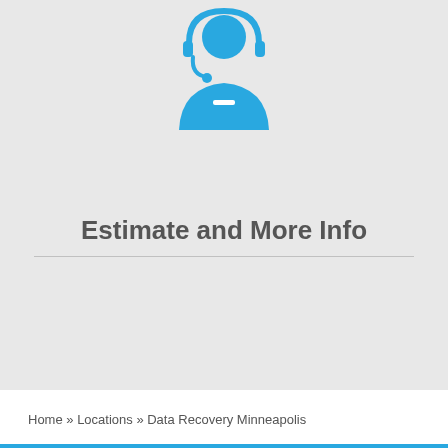[Figure (illustration): Blue customer support / headset agent icon — a person silhouette wearing a headset, rendered in solid blue]
Estimate and More Info
Home » Locations » Data Recovery Minneapolis